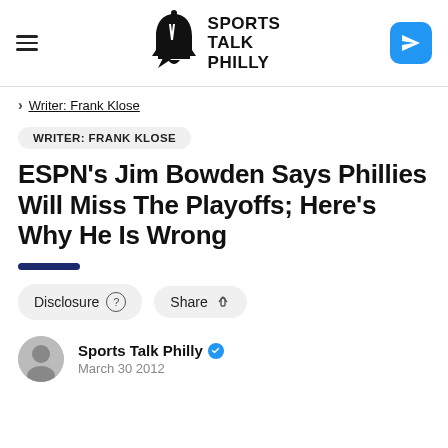Sports Talk Philly
Writer: Frank Klose
WRITER: FRANK KLOSE
ESPN’s Jim Bowden Says Phillies Will Miss The Playoffs; Here’s Why He Is Wrong
Disclosure   Share
Sports Talk Philly
March 30 2012